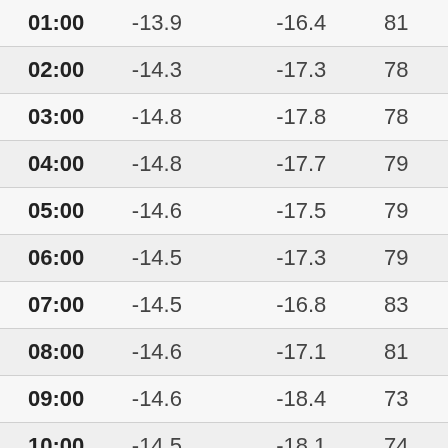| Time | Col2 | Col3 | Col4 |
| --- | --- | --- | --- |
| 01:00 | -13.9 | -16.4 | 81 |
| 02:00 | -14.3 | -17.3 | 78 |
| 03:00 | -14.8 | -17.8 | 78 |
| 04:00 | -14.8 | -17.7 | 79 |
| 05:00 | -14.6 | -17.5 | 79 |
| 06:00 | -14.5 | -17.3 | 79 |
| 07:00 | -14.5 | -16.8 | 83 |
| 08:00 | -14.6 | -17.1 | 81 |
| 09:00 | -14.6 | -18.4 | 73 |
| 10:00 | -14.5 | -18.1 | 74 |